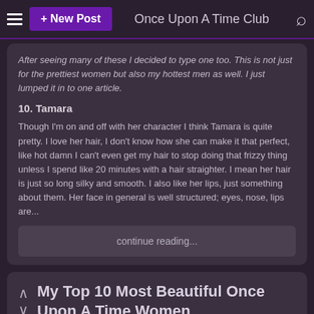+ New Post  Once Upon A Time Club
After seeing many of these I decided to type one too. This is not just for the prettiest women but also my hottest men as well. I just lumped it in to one article.
10. Tamara
Though I'm on and off with her character I think Tamara is quite pretty. I love her hair, I don't know how she can make it that perfect, like hot damn I can't even get my hair to stop doing that frizzy thing unless I spend like 20 minutes with a hair straighter. I mean her hair is just so long silky and smooth. I also like her lips, just something about them. Her face in general is well structured; eyes, nose, lips are...
continue reading...
My Top 10 Most Beautiful Once Upon A Time Women
posted by KataraLover
I've been meaning to do this for a long time and now I'm finally doing it. Once Upon A Time has a lot of really beautiful women. I believe these women are the true beauties of the show and some need more